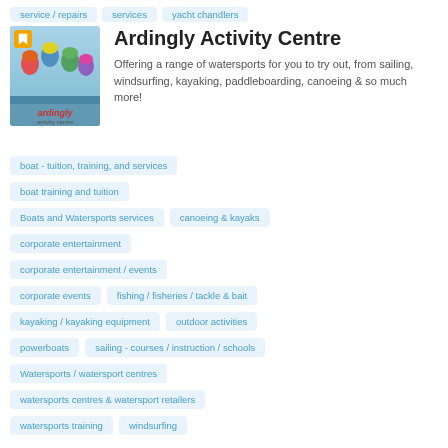service / repairs
services
yacht chandlers
[Figure (photo): Photo of people in kayaks/helmets at Ardingly Activity Centre]
Ardingly Activity Centre
Offering a range of watersports for you to try out, from sailing, windsurfing, kayaking, paddleboarding, canoeing & so much more!
boat - tuition, training, and services
boat training and tuition
Boats and Watersports services
canoeing & kayaks
corporate entertainment
corporate entertainment / events
corporate events
fishing / fisheries / tackle & bait
kayaking / kayaking equipment
outdoor activities
powerboats
sailing - courses / instruction / schools
Watersports / watersport centres
watersports centres & watersport retailers
watersports training
windsurfing